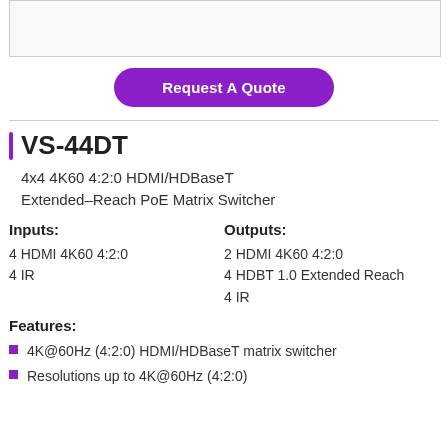[Figure (photo): Product image placeholder at top]
Request A Quote
VS-44DT
4x4 4K60 4:2:0 HDMI/HDBaseT Extended–Reach PoE Matrix Switcher
Inputs:
4 HDMI 4K60 4:2:0
4 IR
Outputs:
2 HDMI 4K60 4:2:0
4 HDBT 1.0 Extended Reach
4 IR
Features:
4K@60Hz (4:2:0) HDMI/HDBaseT matrix switcher
Resolutions up to 4K@60Hz (4:2:0)